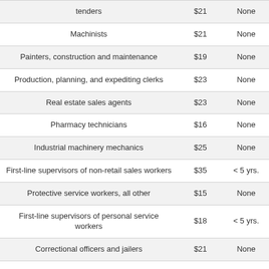| Occupation | Wage | Requirement |
| --- | --- | --- |
| tenders | $21 | None |
| Machinists | $21 | None |
| Painters, construction and maintenance | $19 | None |
| Production, planning, and expediting clerks | $23 | None |
| Real estate sales agents | $23 | None |
| Pharmacy technicians | $16 | None |
| Industrial machinery mechanics | $25 | None |
| First-line supervisors of non-retail sales workers | $35 | < 5 yrs. |
| Protective service workers, all other | $15 | None |
| First-line supervisors of personal service workers | $18 | < 5 yrs. |
| Correctional officers and jailers | $21 | None |
| Insurance claims and policy processing clerks | $19 | None |
| Property, real estate, and community association managers | $28 | < 5 yrs. |